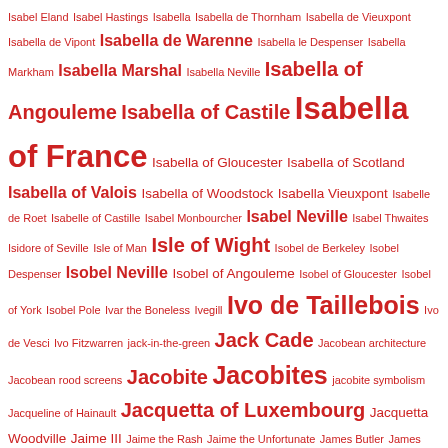Isabel Eland Isabel Hastings Isabella Isabella de Thornham Isabella de Vieuxpont Isabella de Vipont Isabella de Warenne Isabella le Despenser Isabella Markham Isabella Marshal Isabella Neville Isabella of Angouleme Isabella of Castile Isabella of France Isabella of Gloucester Isabella of Scotland Isabella of Valois Isabella of Woodstock Isabella Vieuxpont Isabelle de Roet Isabelle of Castille Isabel Monbourcher Isabel Neville Isabel Thwaites Isidore of Seville Isle of Man Isle of Wight Isobel de Berkeley Isobel Despenser Isobel Neville Isobel of Angouleme Isobel of Gloucester Isobel of York Isobel Pole Ivar the Boneless Ivegill Ivo de Taillebois Ivo de Vesci Ivo Fitzwarren jack-in-the-green Jack Cade Jacobean architecture Jacobean rood screens Jacobite Jacobites jacobite symbolism Jacqueline of Hainault Jacquetta of Luxembourg Jacquetta Woodville Jaime III Jaime the Rash Jaime the Unfortunate James Butler James Duke of York James Edward Stuart James FitzJames James Fitzmaurice James Hamilton James Haute James Hay Lord Carlisle James Hepburn James I James II James III